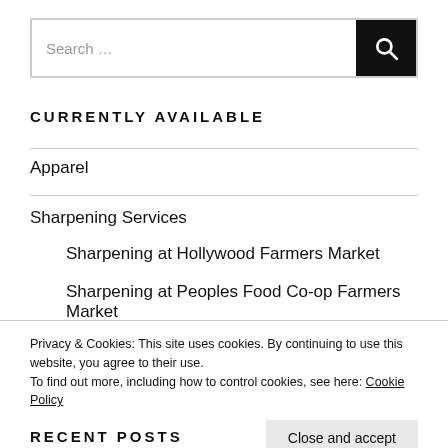Search …
CURRENTLY AVAILABLE
Apparel
Sharpening Services
Sharpening at Hollywood Farmers Market
Sharpening at Peoples Food Co-op Farmers Market
Privacy & Cookies: This site uses cookies. By continuing to use this website, you agree to their use.
To find out more, including how to control cookies, see here: Cookie Policy
Close and accept
RECENT POSTS